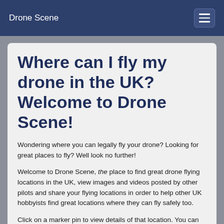Drone Scene
Where can I fly my drone in the UK? Welcome to Drone Scene!
Wondering where you can legally fly your drone? Looking for great places to fly? Well look no further!
Welcome to Drone Scene, the place to find great drone flying locations in the UK, view images and videos posted by other pilots and share your flying locations in order to help other UK hobbyists find great locations where they can fly safely too.
Click on a marker pin to view details of that location. You can also add comments and discuss the location in our